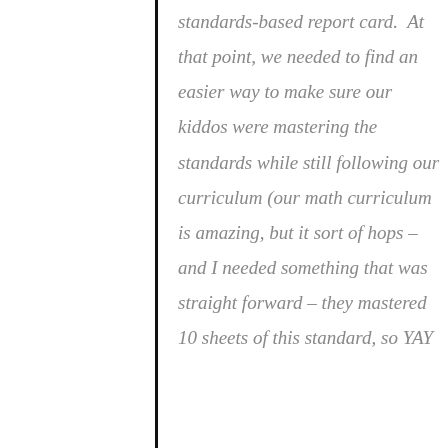standards-based report card.  At that point, we needed to find an easier way to make sure our kiddos were mastering the standards while still following our curriculum (our math curriculum is amazing, but it sort of hops – and I needed something that was straight forward – they mastered 10 sheets of this standard, so YAY